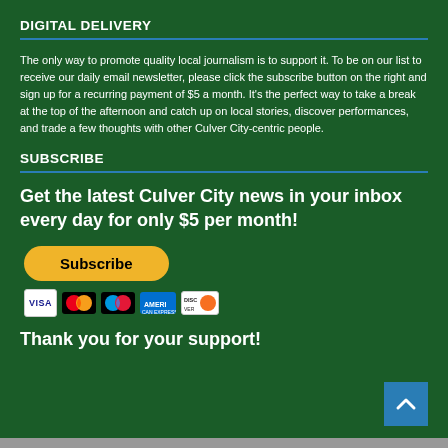DIGITAL DELIVERY
The only way to promote quality local journalism is to support it. To be on our list to receive our daily email newsletter, please click the subscribe button on the right and sign up for a recurring payment of $5 a month. It's the perfect way to take a break at the top of the afternoon and catch up on local stories, discover performances, and trade a few thoughts with other Culver City-centric people.
SUBSCRIBE
Get the latest Culver City news in your inbox every day for only $5 per month!
[Figure (illustration): Subscribe button (yellow/gold pill-shaped button with bold black text 'Subscribe') above a row of payment method icons: VISA, Mastercard, Maestro, American Express, Discover]
Thank you for your support!